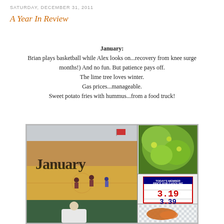SATURDAY, DECEMBER 31, 2011
A Year In Review
January:
Brian plays basketball while Alex looks on...recovery from knee surgery (9 months!)  And no fun.  But patience pays off.
The lime tree loves winter.
Gas prices...manageable.
Sweet potato fries with hummus...from a food truck!
[Figure (photo): Collage of four January photos: a basketball game at a gym with 'January' text overlay, a lime tree with green leaves, a gas station sign showing member prices of $3.19 and $3.39, and sweet potato fries with hummus from a food truck.]